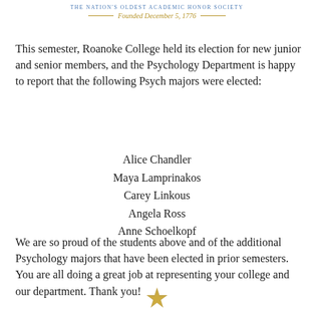THE NATION'S OLDEST ACADEMIC HONOR SOCIETY — Founded December 5, 1776 —
This semester, Roanoke College held its election for new junior and senior members, and the Psychology Department is happy to report that the following Psych majors were elected:
Alice Chandler
Maya Lamprinakos
Carey Linkous
Angela Ross
Anne Schoelkopf
We are so proud of the students above and of the additional Psychology majors that have been elected in prior semesters. You are all doing a great job at representing your college and our department. Thank you!
[Figure (logo): Phi Beta Kappa gold key/star logo at bottom center of page]